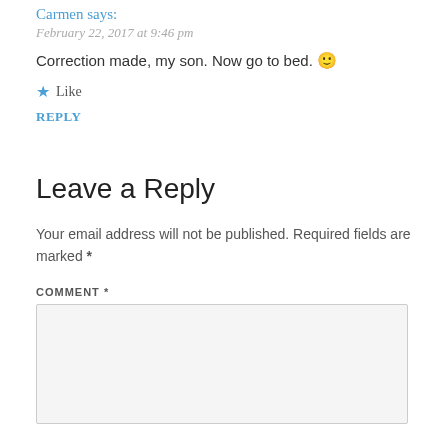Carmen says:
February 22, 2017 at 9:46 pm
Correction made, my son. Now go to bed. 🙂
★ Like
REPLY
Leave a Reply
Your email address will not be published. Required fields are marked *
COMMENT *